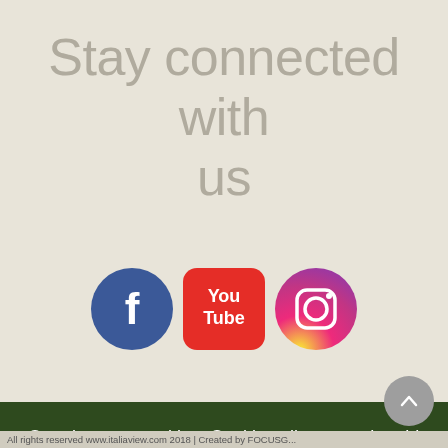Stay connected with us
[Figure (illustration): Three social media icons: Facebook (dark blue circle with white 'f'), YouTube (rounded red square with 'You Tube' text), Instagram (gradient pink/purple circle with camera icon)]
Our site uses cookies. Cookies allow us to be able to best shape and to improve our pages. Continue using our website by agreeing to terms of use Cookies and the use of your personal information. More
Accept
All rights reserved www.italiaview.com 2018 | Created by FOCUSG...